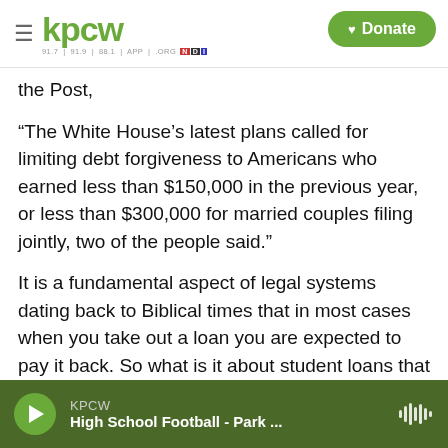KPCW — 91.7 | 91.9 | 88.1 | APP | .ORG — Donate
the Post,
“The White House’s latest plans called for limiting debt forgiveness to Americans who earned less than $150,000 in the previous year, or less than $300,000 for married couples filing jointly, two of the people said.”
It is a fundamental aspect of legal systems dating back to Biblical times that in most cases when you take out a loan you are expected to pay it back. So what is it about student loans that is moving at least some political leaders to call for widespread
KPCW — High School Football - Park ...